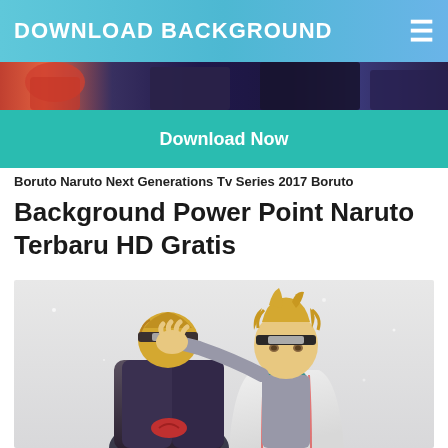DOWNLOAD BACKGROUND
[Figure (screenshot): Anime screenshot strip showing colorful characters]
Download Now
Boruto Naruto Next Generations Tv Series 2017 Boruto
Background Power Point Naruto Terbaru HD Gratis
[Figure (illustration): Anime illustration of two Naruto characters - a taller blonde character with headband placing hand on head of shorter character with dark hair, both in ninja attire, on light grey background]